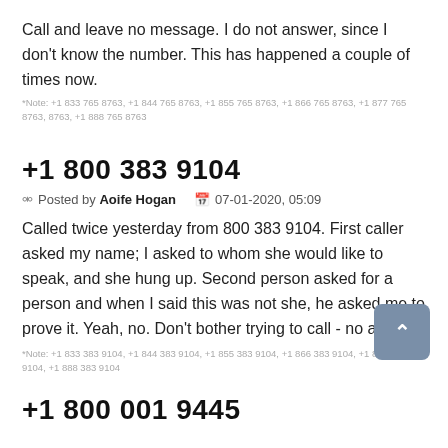Call and leave no message. I do not answer, since I don't know the number. This has happened a couple of times now.
*Note: +1 833 765 8763, +1 844 765 8763, +1 855 765 8763, +1 866 765 8763, +1 877 765 8763, +1 888 765 8763
+1 800 383 9104
Posted by Aoife Hogan   07-01-2020, 05:09
Called twice yesterday from 800 383 9104. First caller asked my name; I asked to whom she would like to speak, and she hung up. Second person asked for a person and when I said this was not she, he asked me to prove it. Yeah, no. Don't bother trying to call - no answer.
*Note: +1 833 383 9104, +1 844 383 9104, +1 855 383 9104, +1 866 383 9104, +1 877 383 9104, +1 888 383 9104
+1 800 001 9445